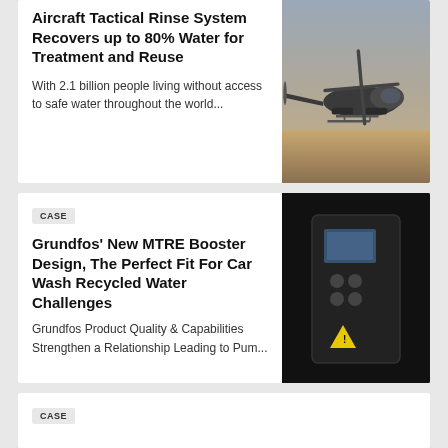Aircraft Tactical Rinse System Recovers up to 80% Water for Treatment and Reuse
With 2.1 billion people living without access to safe water throughout the world...
[Figure (photo): Military helicopter on ground, side view]
CASE
Grundfos' New MTRE Booster Design, The Perfect Fit For Car Wash Recycled Water Challenges
Grundfos Product Quality & Capabilities Strengthen a Relationship Leading to Pum...
[Figure (photo): Grundfos pump control panel, black device close-up]
CASE